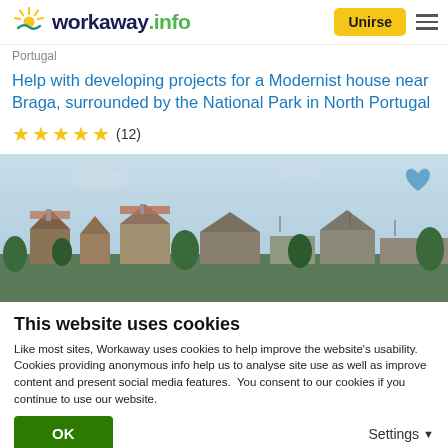workaway.info — Unirse
Portugal
Help with developing projects for a Modernist house near Braga, surrounded by the National Park in North Portugal
★★★★★ (12)
[Figure (photo): Aerial/rooftop view of a town with houses and trees under a light blue sky, with a heart icon in the upper right corner]
This website uses cookies
Like most sites, Workaway uses cookies to help improve the website's usability. Cookies providing anonymous info help us to analyse site use as well as improve content and present social media features.  You consent to our cookies if you continue to use our website.
OK
Settings